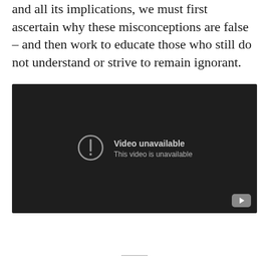and all its implications, we must first ascertain why these misconceptions are false – and then work to educate those who still do not understand or strive to remain ignorant.
[Figure (screenshot): Embedded video player showing 'Video unavailable – This video is unavailable' message on a dark background with a YouTube logo button in the bottom right corner.]